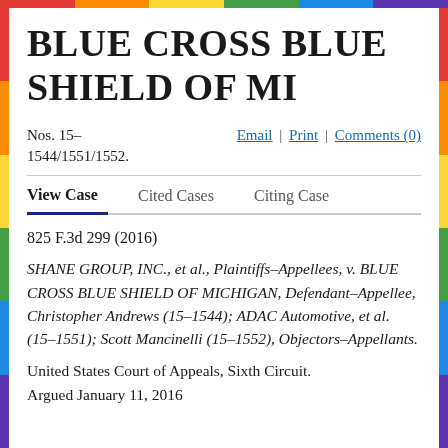BLUE CROSS BLUE SHIELD OF MI
Nos. 15-1544/1551/1552.
Email | Print | Comments (0)
View Case   Cited Cases   Citing Case
825 F.3d 299 (2016)
SHANE GROUP, INC., et al., Plaintiffs-Appellees, v. BLUE CROSS BLUE SHIELD OF MICHIGAN, Defendant-Appellee, Christopher Andrews (15-1544); ADAC Automotive, et al. (15-1551); Scott Mancinelli (15-1552), Objectors-Appellants.
United States Court of Appeals, Sixth Circuit.
Argued January 11, 2016